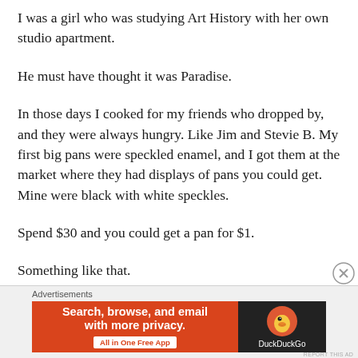I was a girl who was studying Art History with her own studio apartment.
He must have thought it was Paradise.
In those days I cooked for my friends who dropped by, and they were always hungry. Like Jim and Stevie B. My first big pans were speckled enamel, and I got them at the market where they had displays of pans you could get. Mine were black with white speckles.
Spend $30 and you could get a pan for $1.
Something like that.
[Figure (other): DuckDuckGo advertisement banner: orange left panel with text 'Search, browse, and email with more privacy. All in One Free App' and dark right panel with DuckDuckGo duck logo and brand name.]